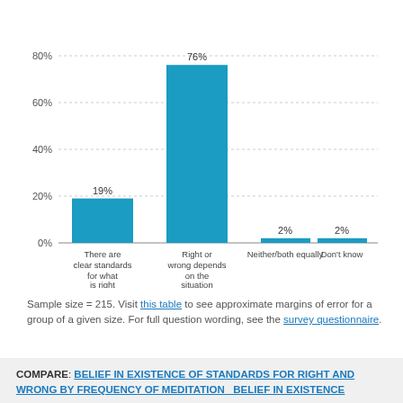[Figure (bar-chart): ]
Sample size = 215. Visit this table to see approximate margins of error for a group of a given size. For full question wording, see the survey questionnaire.
COMPARE: BELIEF IN EXISTENCE OF STANDARDS FOR RIGHT AND WRONG BY FREQUENCY OF MEDITATION   BELIEF IN EXISTENCE